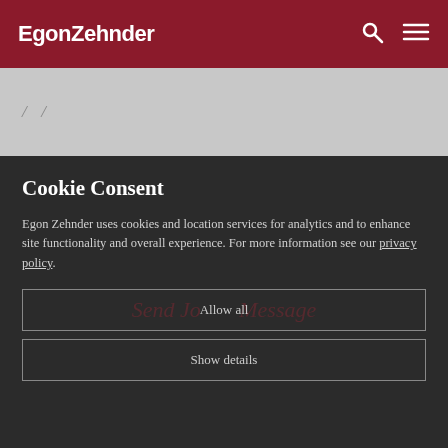EgonZehnder
/ /
Cookie Consent
Egon Zehnder uses cookies and location services for analytics and to enhance site functionality and overall experience. For more information see our privacy policy.
Allow all
Show details